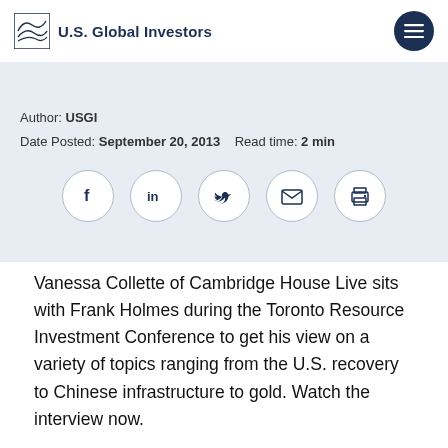U.S. Global Investors
Author: USGI
Date Posted: September 20, 2013   Read time: 2 min
[Figure (other): Social sharing icons: Facebook, LinkedIn, Twitter, Email, Print]
Vanessa Collette of Cambridge House Live sits with Frank Holmes during the Toronto Resource Investment Conference to get his view on a variety of topics ranging from the U.S. recovery to Chinese infrastructure to gold. Watch the interview now.